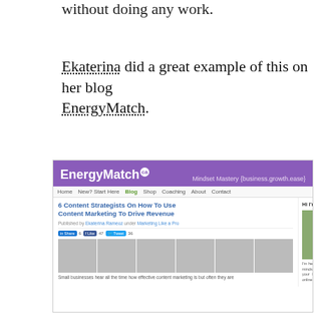without doing any work.
Ekaterina did a great example of this on her blog EnergyMatch.
[Figure (screenshot): Screenshot of EnergyMatch.ca blog showing '6 Content Strategists On How To Use Content Marketing To Drive Revenue' article with purple header, navigation bar, social share buttons, a strip of six expert headshots, and a sidebar with Ekaterina's photo and intro text.]